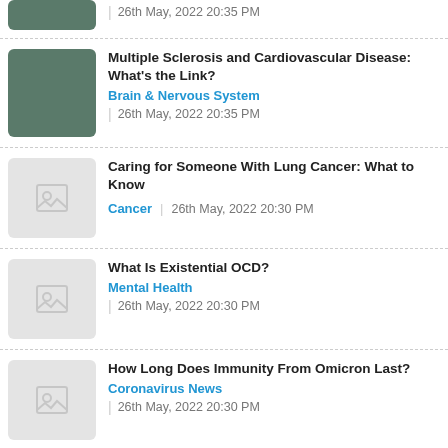26th May, 2022 20:35 PM
[Figure (photo): Doctor with stethoscope]
Multiple Sclerosis and Cardiovascular Disease: What&#39;s the Link?
Brain & Nervous System
26th May, 2022 20:35 PM
[Figure (photo): Placeholder image thumbnail]
Caring for Someone With Lung Cancer: What to Know
Cancer  |  26th May, 2022 20:30 PM
[Figure (photo): Placeholder image thumbnail]
What Is Existential OCD?
Mental Health
26th May, 2022 20:30 PM
[Figure (photo): Placeholder image thumbnail]
How Long Does Immunity From Omicron Last?
Coronavirus News
26th May, 2022 20:30 PM